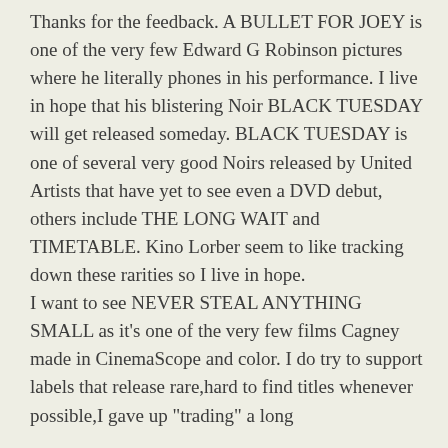Thanks for the feedback. A BULLET FOR JOEY is one of the very few Edward G Robinson pictures where he literally phones in his performance. I live in hope that his blistering Noir BLACK TUESDAY will get released someday. BLACK TUESDAY is one of several very good Noirs released by United Artists that have yet to see even a DVD debut, others include THE LONG WAIT and TIMETABLE. Kino Lorber seem to like tracking down these rarities so I live in hope.
I want to see NEVER STEAL ANYTHING SMALL as it’s one of the very few films Cagney made in CinemaScope and color. I do try to support labels that release rare,hard to find titles whenever possible,I gave up “trading” a long